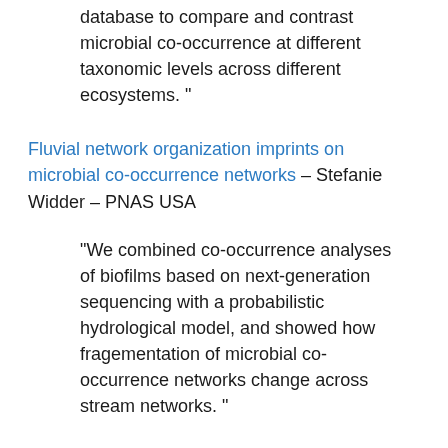database to compare and contrast microbial co-occurrence at different taxonomic levels across different ecosystems. ”
Fluvial network organization imprints on microbial co-occurrence networks – Stefanie Widder – PNAS USA
“We combined co-occurrence analyses of biofilms based on next-generation sequencing with a probabilistic hydrological model, and showed how fragementation of microbial co-occurrence networks change across stream networks. ”
Bioinformatics